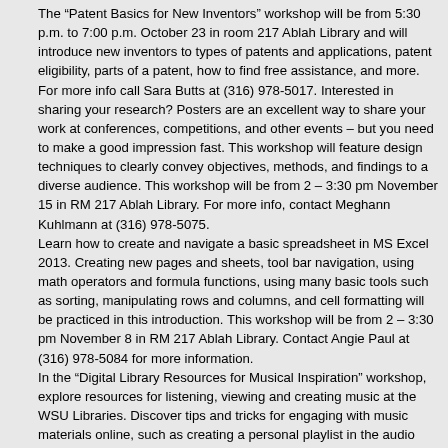The “Patent Basics for New Inventors” workshop will be from 5:30 p.m. to 7:00 p.m. October 23 in room 217 Ablah Library and will introduce new inventors to types of patents and applications, patent eligibility, parts of a patent, how to find free assistance, and more. For more info call Sara Butts at (316) 978-5017. Interested in sharing your research? Posters are an excellent way to share your work at conferences, competitions, and other events – but you need to make a good impression fast. This workshop will feature design techniques to clearly convey objectives, methods, and findings to a diverse audience. This workshop will be from 2 – 3:30 pm November 15 in RM 217 Ablah Library. For more info, contact Meghann Kuhlmann at (316) 978-5075.
Learn how to create and navigate a basic spreadsheet in MS Excel 2013. Creating new pages and sheets, tool bar navigation, using math operators and formula functions, using many basic tools such as sorting, manipulating rows and columns, and cell formatting will be practiced in this introduction. This workshop will be from 2 – 3:30 pm November 8 in RM 217 Ablah Library. Contact Angie Paul at (316) 978-5084 for more information.
In the “Digital Library Resources for Musical Inspiration” workshop, explore resources for listening, viewing and creating music at the WSU Libraries. Discover tips and tricks for engaging with music materials online, such as creating a personal playlist in the audio streaming databases, searching within streaming